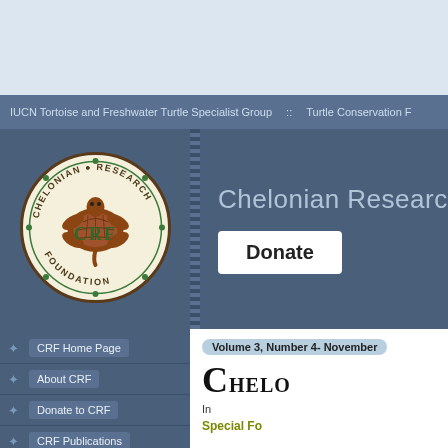IUCN Tortoise and Freshwater Turtle Specialist Group :: Turtle Conservation F
[Figure (logo): Chelonian Research Foundation (CRF) circular logo with turtle illustration and text around the border]
Chelonian Research
Donate
CRF Home Page
About CRF
Donate to CRF
CRF Publications
Turtle Ecology Fund: Congdon-
Volume 3, Number 4- November
CHELO
In
Special Fo